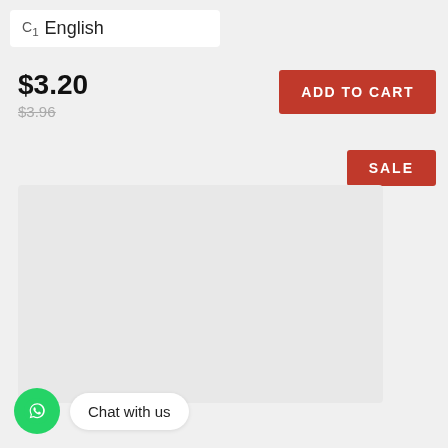C₁ English
$3.20
$3.96
ADD TO CART
SALE
[Figure (other): Light grey product image placeholder area]
Chat with us